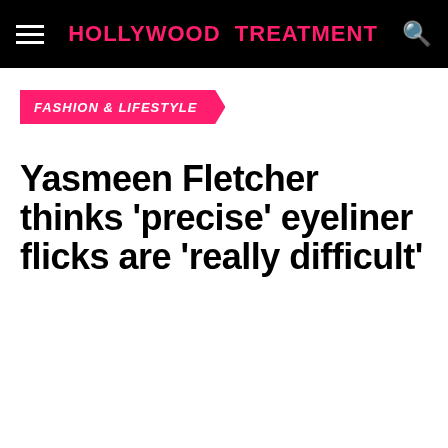HOLLYWOOD TREATMENT
FASHION & LIFESTYLE
Yasmeen Fletcher thinks 'precise' eyeliner flicks are 'really difficult'